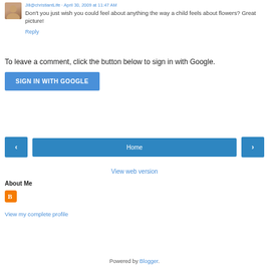Don't you just wish you could feel about anything the way a child feels about flowers? Great picture!
Reply
To leave a comment, click the button below to sign in with Google.
SIGN IN WITH GOOGLE
Home
View web version
About Me
[Figure (logo): Blogger orange B logo icon]
View my complete profile
Powered by Blogger.